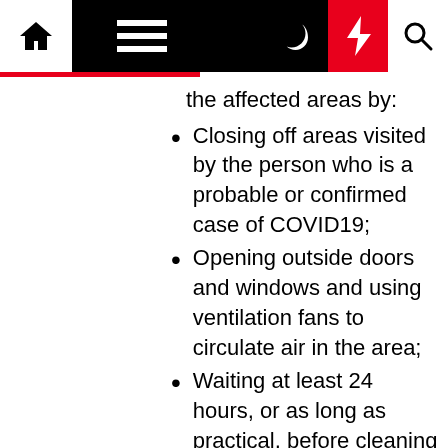Navigation bar with home, menu, moon, bolt, search icons
the affected areas by:
Closing off areas visited by the person who is a probable or confirmed case of COVID19;
Opening outside doors and windows and using ventilation fans to circulate air in the area;
Waiting at least 24 hours, or as long as practical, before cleaning and disinfecting the affected area;